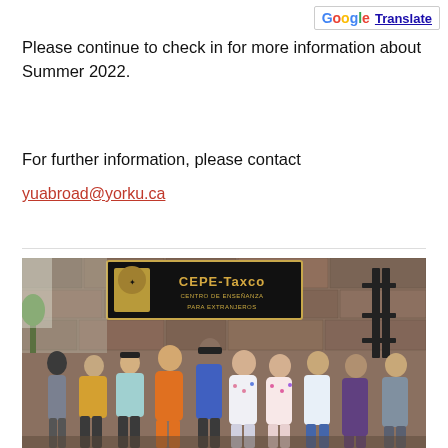[Figure (logo): Google Translate button with Google G logo and blue underlined Translate text]
Please continue to check in for more information about Summer 2022.
For further information, please contact
yuabroad@yorku.ca
[Figure (photo): Group of approximately ten students posing in front of a CEPE-Taxco (Centro de Enseñanza Para Extranjeros) sign mounted on a stone wall. The sign is black with gold lettering and features a university crest. An iron gate is visible on the right.]